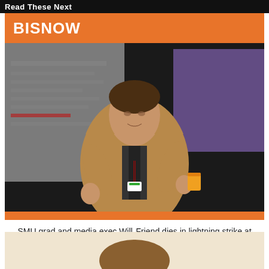Read These Next
BISNOW
[Figure (photo): A man in a tan blazer speaking at a conference, gesturing with both hands, wearing a name badge, with a blurred purple and white presentation background]
SMU grad and media exec Will Friend dies in lightning strike at age 33
[Figure (photo): Partial view of a second article image, showing top of a person's head with light background]